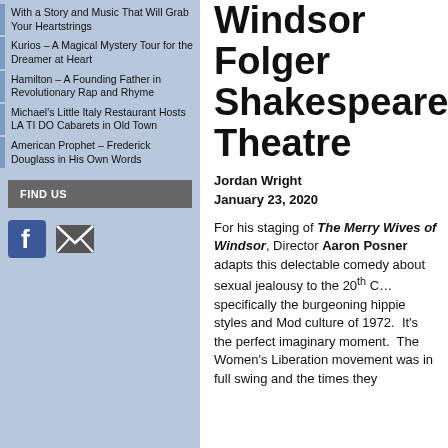With a Story and Music That Will Grab Your Heartstrings
Kurios – A Magical Mystery Tour for the Dreamer at Heart
Hamilton – A Founding Father in Revolutionary Rap and Rhyme
Michael's Little Italy Restaurant Hosts LA TI DO Cabarets in Old Town
American Prophet – Frederick Douglass in His Own Words
The Merry Wives of Windsor Folger Shakespeare Theatre
Jordan Wright
January 23, 2020
For his staging of The Merry Wives of Windsor, Director Aaron Posner adapts this delectable comedy about sexual jealousy to the 20th C… specifically the burgeoning hippie styles and Mod culture of 1972.  It's the perfect imaginary moment.  The Women's Liberation movement was in full swing and the times they